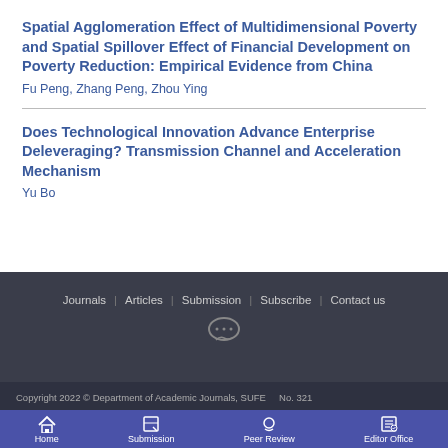Spatial Agglomeration Effect of Multidimensional Poverty and Spatial Spillover Effect of Financial Development on Poverty Reduction: Empirical Evidence from China
Fu Peng, Zhang Peng, Zhou Ying
Does Technological Innovation Advance Enterprise Deleveraging? Transmission Channel and Acceleration Mechanism
Yu Bo
Journals | Articles | Submission | Subscribe | Contact us
Copyright 2022 © Department of Academic Journals, SUFE   No. 321
Home | Submission | Peer Review | Editor Office